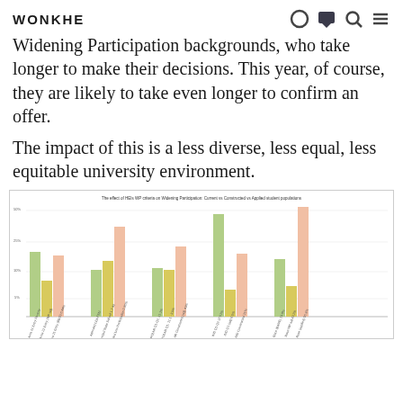WONKHE
Widening Participation backgrounds, who take longer to make their decisions. This year, of course, they are likely to take even longer to confirm an offer.
The impact of this is a less diverse, less equal, less equitable university environment.
[Figure (grouped-bar-chart): Grouped bar chart comparing current, constructed, and applied student populations across WP criteria groups. Bars are colored green, yellow/gold, and salmon/orange. Multiple groups shown on x-axis with rotated labels. Y-axis appears to go from approximately 0 to 50.]